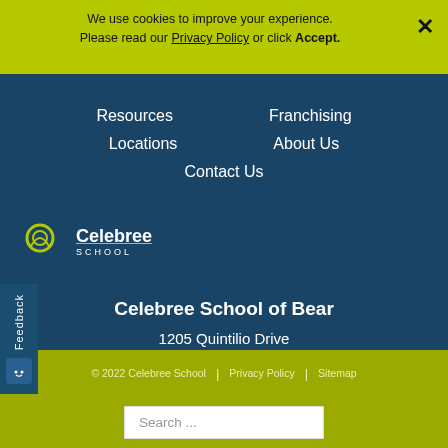We use cookies to improve your experience. Please read our Privacy Policy or click Accept.
Resources
Franchising
Locations
About Us
Contact Us
[Figure (logo): Celebree School logo with stylized icon and wordmark]
Celebree School of Bear
1205 Quintilio Drive
Bear, DE 19701
302-834-0436
© 2022 Celebree School | Privacy Policy | Sitemap
Search ...